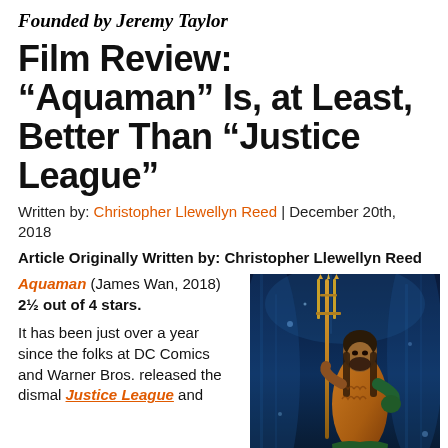Founded by Jeremy Taylor
Film Review: “Aquaman” Is, at Least, Better Than “Justice League”
Written by: Christopher Llewellyn Reed | December 20th, 2018
Article Originally Written by: Christopher Llewellyn Reed
Aquaman (James Wan, 2018) 2½ out of 4 stars.

It has been just over a year since the folks at DC Comics and Warner Bros. released the dismal Justice League and
[Figure (photo): Movie poster for Aquaman (2018) showing Jason Momoa as Aquaman holding a golden trident, wearing an orange and green costume, against a dark blue water background with splashing water effects.]